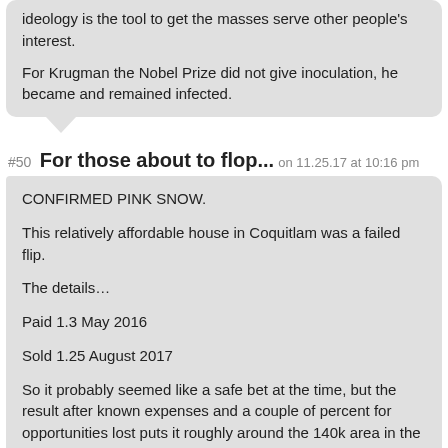ideology is the tool to get the masses serve other people's interest.
For Krugman the Nobel Prize did not give inoculation, he became and remained infected.
#50  For those about to flop...  on 11.25.17 at 10:16 pm
CONFIRMED PINK SNOW.
This relatively affordable house in Coquitlam was a failed flip.
The details…
Paid 1.3 May 2016
Sold 1.25 August 2017
So it probably seemed like a safe bet at the time, but the result after known expenses and a couple of percent for opportunities lost puts it roughly around the 140k area in the loss column…
M43BC
Sold on August 5th